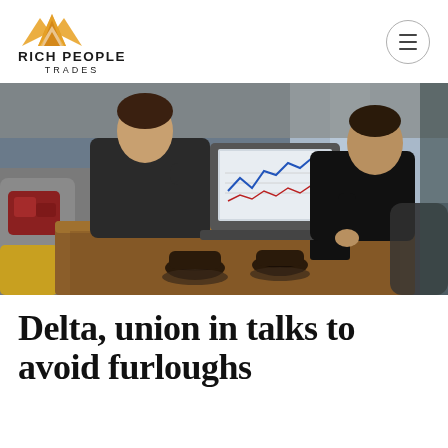RICH PEOPLE TRADES
[Figure (photo): Two businessmen in suits sitting at a wooden table in a cafe/office, one pointing at a laptop screen with financial charts, coffee cups on the table, couch with cushions visible in background]
Delta, union in talks to avoid furloughs